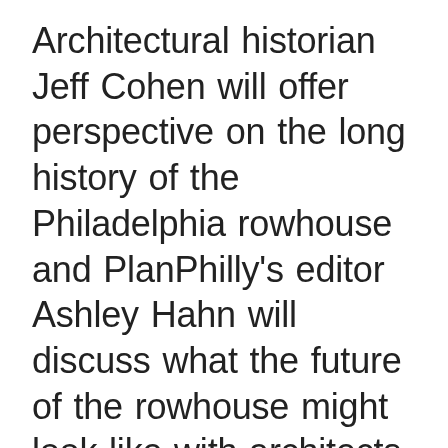Architectural historian Jeff Cohen will offer perspective on the long history of the Philadelphia rowhouse and PlanPhilly's editor Ashley Hahn will discuss what the future of the rowhouse might look like with architects Cecil Baker (Cecil Baker + Partners), Brian Phillips (ISA), and Kiki Bolender (Bolender Architects; Healthy Rowhouse Project). We'll also